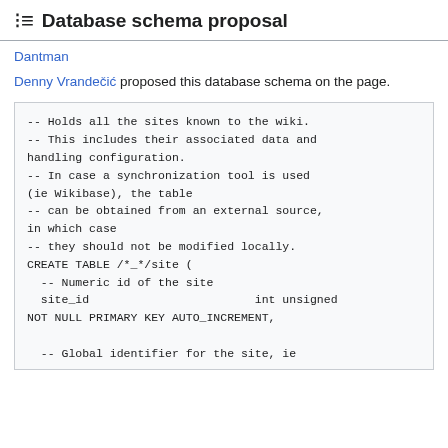Database schema proposal
Dantman
Denny Vrandečić proposed this database schema on the page.
-- Holds all the sites known to the wiki.
-- This includes their associated data and handling configuration.
-- In case a synchronization tool is used (ie Wikibase), the table
-- can be obtained from an external source, in which case
-- they should not be modified locally.
CREATE TABLE /*_*/site (
  -- Numeric id of the site
  site_id                        int unsigned NOT NULL PRIMARY KEY AUTO_INCREMENT,

  -- Global identifier for the site, ie